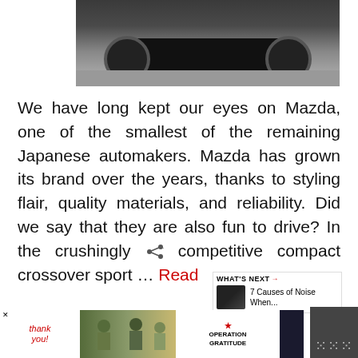[Figure (photo): Rear view of a dark-colored Mazda SUV/crossover vehicle parked on a gray asphalt surface, showing the back bumper, exhaust, and rear wheels.]
We have long kept our eyes on Mazda, one of the smallest of the remaining Japanese automakers. Mazda has grown its brand over the years, thanks to styling flair, quality materials, and reliability. Did we say that they are also fun to drive? In the crushingly competitive compact crossover sport … Read more
more
[Figure (infographic): WHAT'S NEXT panel showing a thumbnail image of a car wheel/brake and the title '7 Causes of Noise When...']
New Vehicle Reviews
[Figure (photo): Operation Gratitude advertisement banner showing 'Thank you!' text with a flag illustration, soldiers images, and the Operation Gratitude logo.]